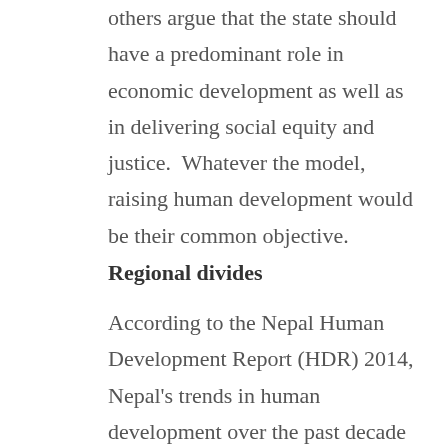others argue that the state should have a predominant role in economic development as well as in delivering social equity and justice.  Whatever the model, raising human development would be their common objective.
Regional divides
According to the Nepal Human Development Report (HDR) 2014, Nepal's trends in human development over the past decade show overall improvement accompanied by considerable, often entrenched regional and social